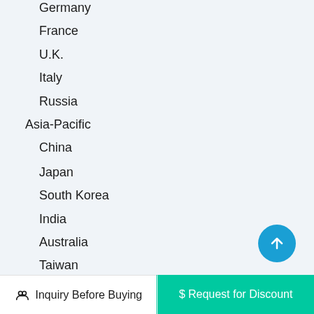Germany
France
U.K.
Italy
Russia
Asia-Pacific
China
Japan
South Korea
India
Australia
Taiwan
Indonesia
Thailand
Malaysia
Philippines
Inquiry Before Buying   $ Request for Discount